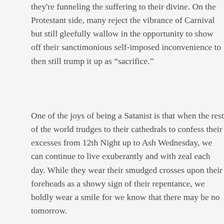they're funneling the suffering to their divine. On the Protestant side, many reject the vibrance of Carnival but still gleefully wallow in the opportunity to show off their sanctimonious self-imposed inconvenience to then still trump it up as “sacrifice.”
One of the joys of being a Satanist is that when the rest of the world trudges to their cathedrals to confess their excesses from 12th Night up to Ash Wednesday, we can continue to live exuberantly and with zeal each day. While they wear their smudged crosses upon their foreheads as a showy sign of their repentance, we boldly wear a smile for we know that there may be no tomorrow.
I find it offensive that like their Puritanical brethren, Catholics would bother to make such a spectacle of their subservience and supposed regret for the drunken revelry of a few hours earlier, all the while knowing that